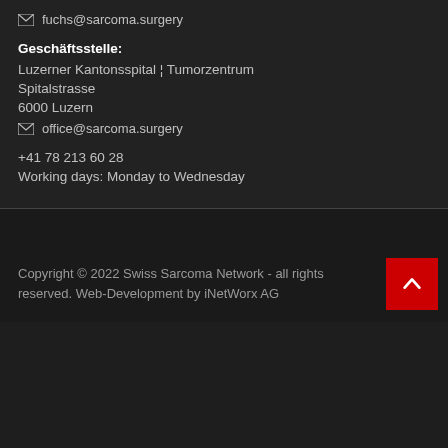fuchs@sarcoma.surgery
Geschäftsstelle:
Luzerner Kantonsspital ¦ Tumorzentrum
Spitalstrasse
6000 Luzern
office@sarcoma.surgery
+41 78 213 60 28
Working days: Monday to Wednesday
Copyright © 2022 Swiss Sarcoma Network - all rights reserved. Web-Development by iNetWorx AG